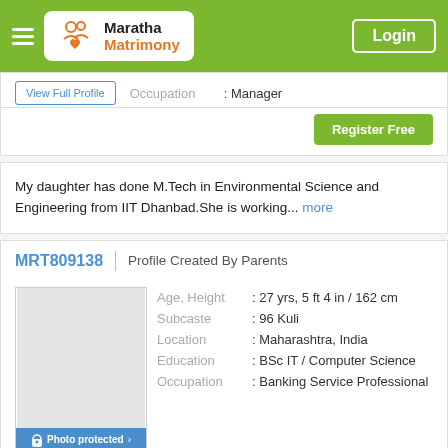[Figure (screenshot): Maratha Matrimony website header with logo and Login button on green background]
| Field | Value |
| --- | --- |
| Occupation | : Manager |
View Full Profile
Register Free
My daughter has done M.Tech in Environmental Science and Engineering from IIT Dhanbad.She is working... more
MRT809138  |  Profile Created By Parents
| Field | Value |
| --- | --- |
| Age, Height | : 27 yrs, 5 ft 4 in / 162 cm |
| Subcaste | : 96 Kuli |
| Location | : Maharashtra, India |
| Education | : BSc IT / Computer Science |
| Occupation | : Banking Service Professional |
Photo protected
View Full Profile
Register Free
My daughter is employed in private banking sector with a Bachelor's degree, currently living in Pun... more